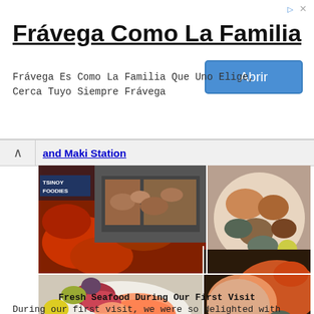[Figure (screenshot): Advertisement banner for 'Frávega Como La Familia' with title text, body text 'Frávega Es Como La Familia Que Uno Elige, Cerca Tuyo Siempre Frávega', and a blue 'Abrir' button. Also contains navigation icons.]
and Maki Station
[Figure (photo): Collage of four food photos showing fresh seafood: crabs and shellfish on ice buffet display, plate of mixed shellfish with oysters and citrus, large crab/lobster claws on plate, and sashimi platter with salmon, tuna, and garnishes. Watermark: ©WWW.TSINOYFOODIES.COM]
Fresh Seafood During Our First Visit
During our first visit, we were so delighted with their Seafood